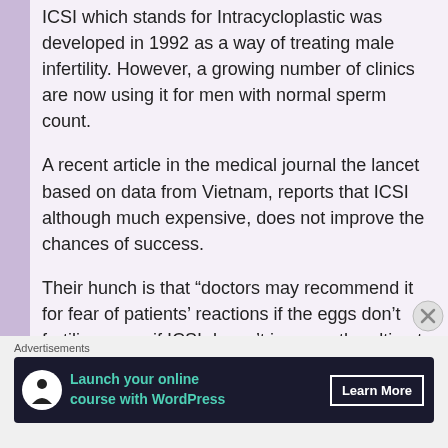ICSI which stands for Intracycloplastic was developed in 1992 as a way of treating male infertility. However, a growing number of clinics are now using it for men with normal sperm count.
A recent article in the medical journal the lancet based on data from Vietnam, reports that ICSI although much expensive, does not improve the chances of success.
Their hunch is that “doctors may recommend it for fear of patients’ reactions if the eggs don’t fertilise, even if ICSI doesn’t improve the ultimate chance of a baby for those with a normal sperm count.”
Advertisements
[Figure (other): Advertisement banner: Launch your online course with WordPress. Learn More button. Dark background with teal text and a tree/person icon.]